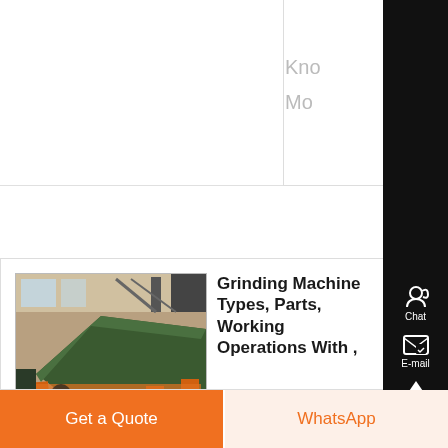Kno
Mo
[Figure (photo): Photo of a grinding machine (vibrating screen or industrial grinder) in a warehouse/factory setting, orange metal frame structure]
Grinding Machine Types, Parts, Working Operations With ,
A grinding machine or grinder is an industrial power
Chat
E-mail
Top
Get a Quote
WhatsApp